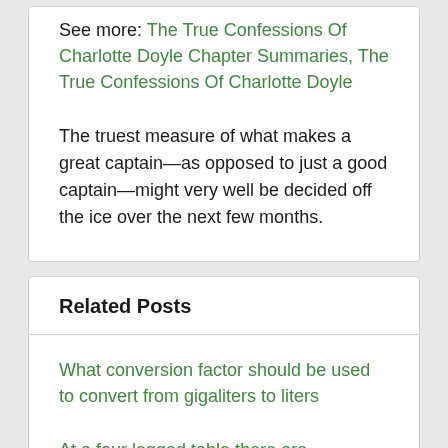See more: The True Confessions Of Charlotte Doyle Chapter Summaries, The True Confessions Of Charlotte Doyle
The truest measure of what makes a great captain—as opposed to just a good captain—might very well be decided off the ice over the next few months.
Related Posts
What conversion factor should be used to convert from gigaliters to liters
At a four legged table there are
15 english tons short to metric tons